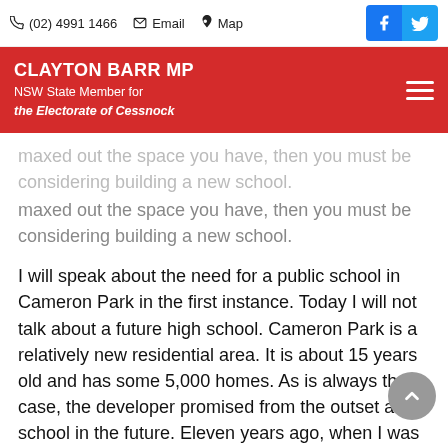(02) 4991 1466 | Email | Map
CLAYTON BARR MP - NSW State Member for the Electorate of Cessnock
maxed out the space you have, then you must be considering building a new school.
I will speak about the need for a public school in Cameron Park in the first instance. Today I will not talk about a future high school. Cameron Park is a relatively new residential area. It is about 15 years old and has some 5,000 homes. As is always the case, the developer promised from the outset a school in the future. Eleven years ago, when I was campaigning to try to come to this House and doorknocking throughout Cameron Park, every second door I knocked on had young children behind it. They wanted to inquire about where their school was because they were essentially promised a school, and rightly so. You would think a school